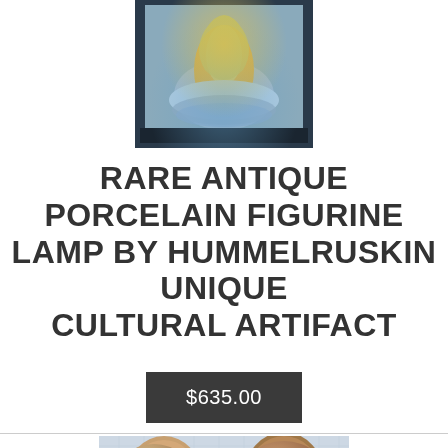[Figure (photo): A porcelain figurine lamp displayed on a dark surface with blue and yellow glowing lights around the base]
RARE ANTIQUE PORCELAIN FIGURINE LAMP BY HUMMELRUSKIN UNIQUE CULTURAL ARTIFACT
$635.00
[Figure (photo): Two 3D rendered male head models side by side with the text 'KnowU' in cursive between them, on a light blue grid background]